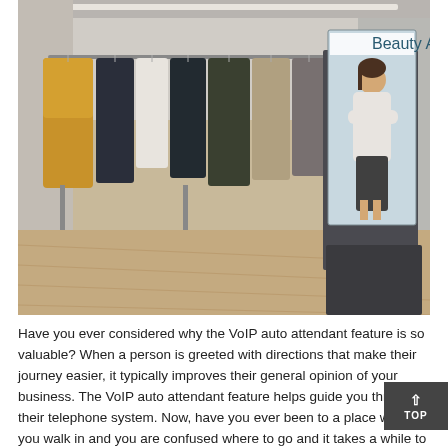[Figure (photo): A retail clothing store interior showing garments hanging on racks (yellow, black, white, dark green, tan coats and shirts). On the right side of the image is a tall digital display kiosk showing a 'Beauty Advisor' — a woman in professional attire standing with arms crossed against a light blue background.]
Have you ever considered why the VoIP auto attendant feature is so valuable? When a person is greeted with directions that make their journey easier, it typically improves their general opinion of your business. The VoIP auto attendant feature helps guide you through their telephone system. Now, have you ever been to a place where you walk in and you are confused where to go and it takes a while to